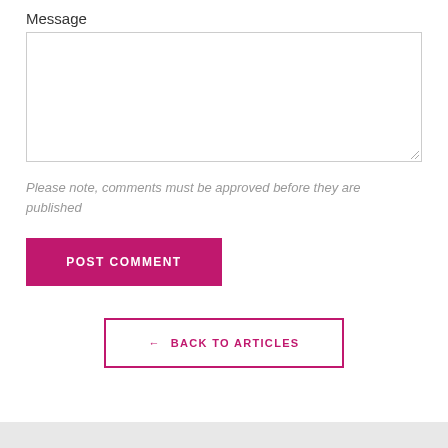Message
[Figure (other): Empty text area input field with resize handle in bottom-right corner]
Please note, comments must be approved before they are published
POST COMMENT
← BACK TO ARTICLES